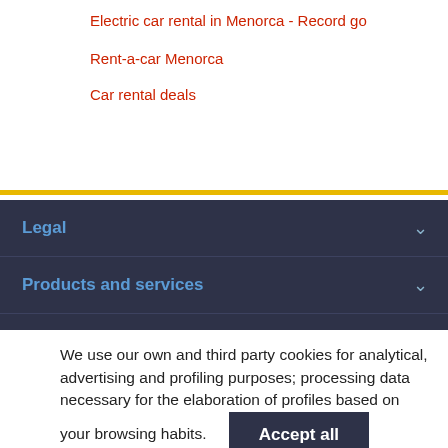Electric car rental in Menorca - Record go
Rent-a-car Menorca
Car rental deals
Legal
Products and services
Record go
We use our own and third party cookies for analytical, advertising and profiling purposes; processing data necessary for the elaboration of profiles based on your browsing habits.
Accept all
More information and configuration*
*This option allows to refuse all.